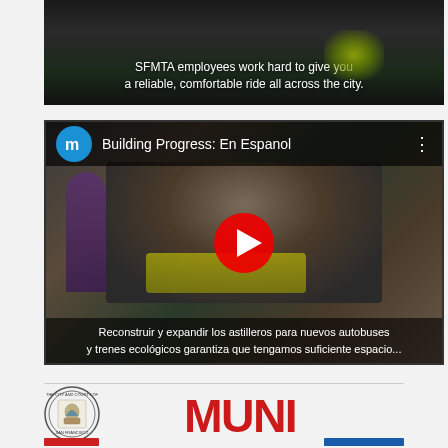[Figure (screenshot): Top video thumbnail showing bus/train yard with text overlay: 'SFMTA employees work hard to give you a reliable, comfortable ride all across the city.']
[Figure (screenshot): YouTube video embed titled 'Building Progress: En Espanol' with Muni logo, play button, and subtitle: 'Reconstruir y expandir los astilleros para nuevos autobuses y trenes ecologicos garantiza que tengamos suficiente espacio...']
[Figure (logo): San Francisco City and County seal followed by MUNI red wordmark logo]
[Figure (screenshot): Bottom navigation strip with red bar on left and blue button on right]